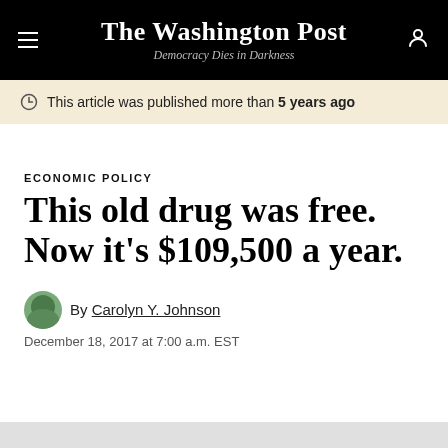The Washington Post — Democracy Dies in Darkness
This article was published more than 5 years ago
ECONOMIC POLICY
This old drug was free. Now it's $109,500 a year.
By Carolyn Y. Johnson
December 18, 2017 at 7:00 a.m. EST